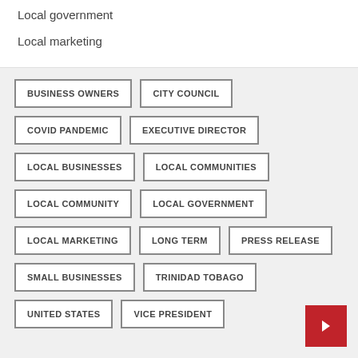Local government
Local marketing
BUSINESS OWNERS
CITY COUNCIL
COVID PANDEMIC
EXECUTIVE DIRECTOR
LOCAL BUSINESSES
LOCAL COMMUNITIES
LOCAL COMMUNITY
LOCAL GOVERNMENT
LOCAL MARKETING
LONG TERM
PRESS RELEASE
SMALL BUSINESSES
TRINIDAD TOBAGO
UNITED STATES
VICE PRESIDENT